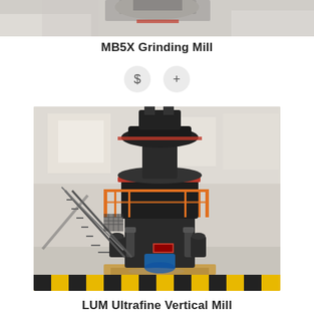[Figure (photo): Partial top image of grinding mill machinery, cropped at top of page]
MB5X Grinding Mill
[Figure (other): Two circular icon buttons: dollar sign ($) and plus (+)]
[Figure (photo): Industrial MB5X grinding mill machine in a factory/warehouse setting. Large vertical mill with dark metal body, red accents, orange safety railings, blue motor at base, yellow-black striped floor markings, and access staircase.]
LUM Ultrafine Vertical Mill